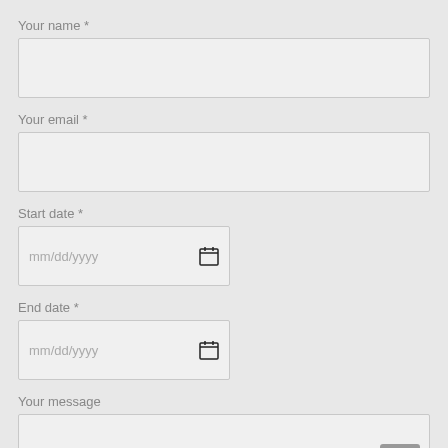Your name *
[Figure (other): Empty text input field for name]
Your email *
[Figure (other): Empty text input field for email]
Start date *
[Figure (other): Date input field showing mm/dd/yyyy placeholder with calendar icon]
End date *
[Figure (other): Date input field showing mm/dd/yyyy placeholder with calendar icon]
Your message
[Figure (other): Empty textarea input field with scroll-to-top button in bottom right corner]